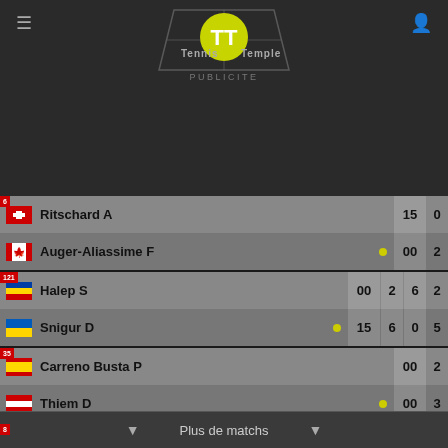[Figure (logo): Tennis Temple app logo with yellow tennis ball and white TT letters on dark background, with tennis court outline]
PUBLICITE
| Player | Score1 | Set1 | Set2 | Set3 |
| --- | --- | --- | --- | --- |
| Ritschard A | 15 |  |  | 0 |
| Auger-Aliassime F | 00 |  |  | 2 |
| Halep S | 00 | 2 | 6 | 2 |
| Snigur D | 15 | 6 | 0 | 5 |
| Carreno Busta P | 00 |  |  | 2 |
| Thiem D | 00 |  |  | 3 |
| Dart H | 00 |  |  | 1 |
| Kasatkina D | 40 |  |  | 2 |
Plus de matchs